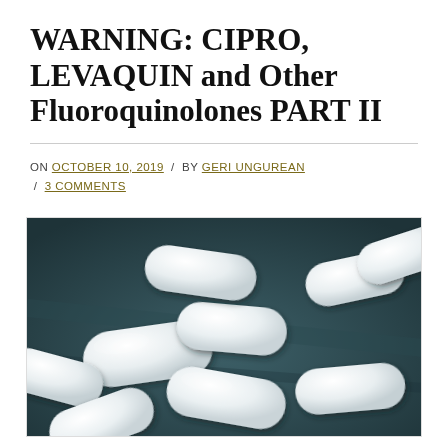WARNING: CIPRO, LEVAQUIN and Other Fluoroquinolones PART II
ON OCTOBER 10, 2019 / BY GERI UNGUREAN / 3 COMMENTS
[Figure (photo): Close-up photograph of multiple white oval/rectangular pill tablets scattered on a dark teal/blue surface]